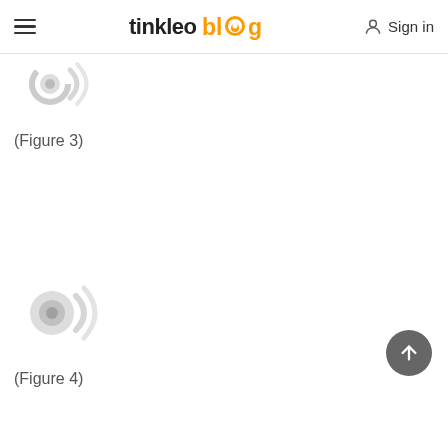tinkleo blog | Sign in
[Figure (illustration): Partially visible circular audio/signal wave icon (greyed out) — top portion only visible, cropped by page edge. Represents Figure 3 placeholder image.]
(Figure 3)
[Figure (illustration): Circular audio/signal wave icon in light grey, full icon visible. Represents Figure 4 placeholder image.]
(Figure 4)